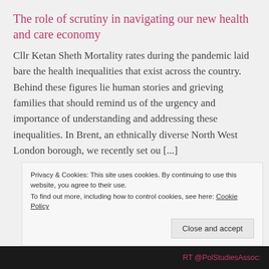The role of scrutiny in navigating our new health and care economy
Cllr Ketan Sheth Mortality rates during the pandemic laid bare the health inequalities that exist across the country. Behind these figures lie human stories and grieving families that should remind us of the urgency and importance of understanding and addressing these inequalities. In Brent, an ethnically diverse North West London borough, we recently set ou [...]
Privacy & Cookies: This site uses cookies. By continuing to use this website, you agree to their use. To find out more, including how to control cookies, see here: Cookie Policy
RT @PolStudiesAssoc: